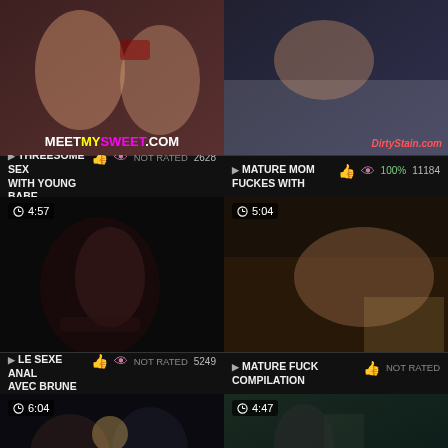[Figure (screenshot): Video thumbnail 1 - meetmysweet.com watermark, top left]
[Figure (screenshot): Video thumbnail 2 - DirtyStain.com watermark, top right]
▶ THREESOME SEX WITH YOUNG BABE  👍  👁  NOT RATED  2628
▶ MATURE MOM FUCKES WITH  👍  👁  100%  11184
[Figure (screenshot): Video thumbnail 3 - 4:57 duration, dark haired woman]
[Figure (screenshot): Video thumbnail 4 - 5:04 duration, woman on bed]
▶ LE SEXE ANAL AVEC BRUNE  👍  👁  NOT RATED  5249
▶ MATURE FUCK COMPILATION  👍  NOT RATED
[Figure (screenshot): Video thumbnail 5 - 6:04 duration, two women]
[Figure (screenshot): Video thumbnail 6 - 4:47 duration]